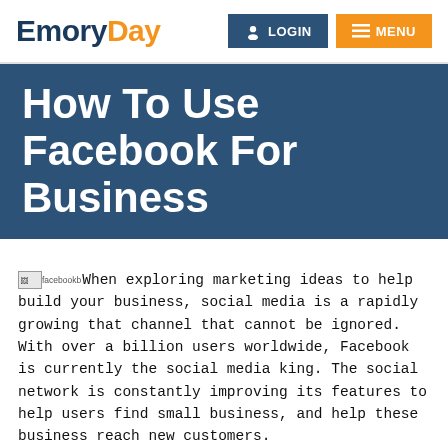EmoryDay  LOGIN  MENU
How To Use Facebook For Business
When exploring marketing ideas to help build your business, social media is a rapidly growing that channel that cannot be ignored. With over a billion users worldwide, Facebook is currently the social media king. The social network is constantly improving its features to help users find small business, and help these business reach new customers. Creating a presence on facebook can help you engage your